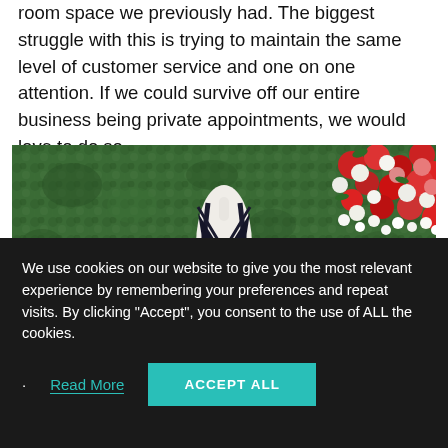room space we previously had. The biggest struggle with this is trying to maintain the same level of customer service and one on one attention. If we could survive off our entire business being private appointments, we would love to do so.
[Figure (photo): A mannequin wearing a black sparkly deep-V dress displayed in front of a green hedge wall with red, pink, and white roses in the upper right corner.]
We use cookies on our website to give you the most relevant experience by remembering your preferences and repeat visits. By clicking "Accept", you consent to the use of ALL the cookies.
Read More | ACCEPT ALL